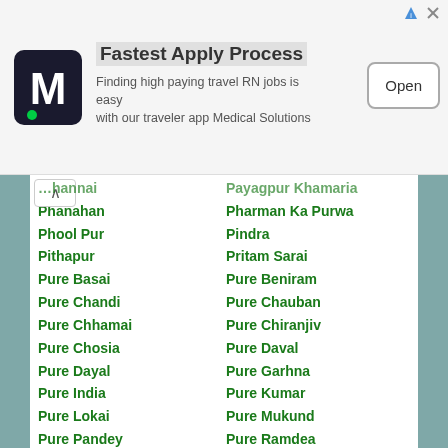[Figure (other): Advertisement banner: Medical Solutions logo (M), headline 'Fastest Apply Process', description 'Finding high paying travel RN jobs is easy with our traveler app Medical Solutions', Open button]
Phanahan
Phool Pur
Pithapur
Pure Basai
Pure Chandi
Pure Chhamai
Pure Chosia
Pure Dayal
Pure India
Pure Lokai
Pure Pandey
Pure Sewari
Pure Udai Ram
Ragurampur
Rajai
Rajapur Mufrid
Rajupur
Rampur Kurmiyan
Ratangarn Pur
Sagar Sarai
Sahaypur
Salhipur
Sanabhar
Sanhi Pur
Saroj Basti
Payagpur Khamaria
Pharman Ka Purwa
Pindra
Pritam Sarai
Pure Beniram
Pure Chauban
Pure Chiranjiv
Pure Daval
Pure Garhna
Pure Kumar
Pure Mukund
Pure Ramdea
Pure Tilam
Radhapur
Raiya
Rajai Dharcholi
Rajmalpul
Rampur Kapa
Raniganj
Rathwat
Sahabsukhali
Sakhan
Samha
Sanbarsa
Sarauli Jilwa
Sarsi